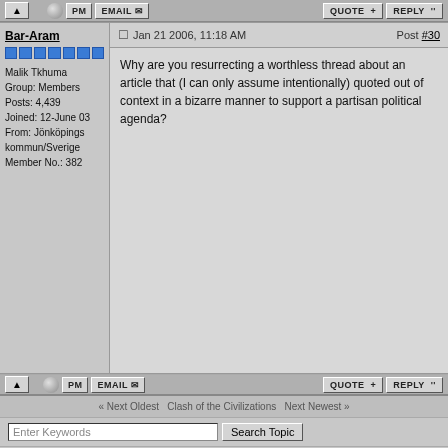Forum post toolbar with PM, EMAIL, QUOTE, REPLY buttons
Bar-Aram
Jan 21 2006, 11:18 AM  Post #30
Malik Tkhuma
Group: Members
Posts: 4,439
Joined: 12-June 03
From: Jönköpings kommun/Sverige
Member No.: 382
Why are you resurrecting a worthless thread about an article that (I can only assume intentionally) quoted out of context in a bizarre manner to support a partisan political agenda?
« Next Oldest  Clash of the Civilizations  Next Newest »
Enter Keywords  Search Topic
2 Pages  1  2  >  ADDREPLY  OPTIONS  NEWTOPIC
|-- Clash of the Civilizations  Go